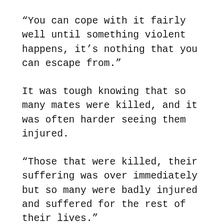“You can cope with it fairly well until something violent happens, it’s nothing that you can escape from.”
It was tough knowing that so many mates were killed, and it was often harder seeing them injured.
“Those that were killed, their suffering was over immediately but so many were badly injured and suffered for the rest of their lives.”
The field engineers developed a reputation for being problem solvers, says Barry, whose